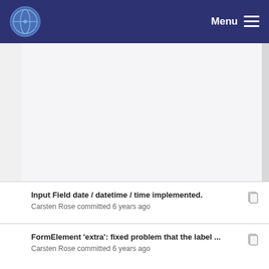Menu
[Figure (screenshot): Large blank/empty content area with light gray background, representing a webpage content region]
Input Field date / datetime / time implemented.
Carsten Rose committed 6 years ago
FormElement 'extra': fixed problem that the label ...
Carsten Rose committed 6 years ago